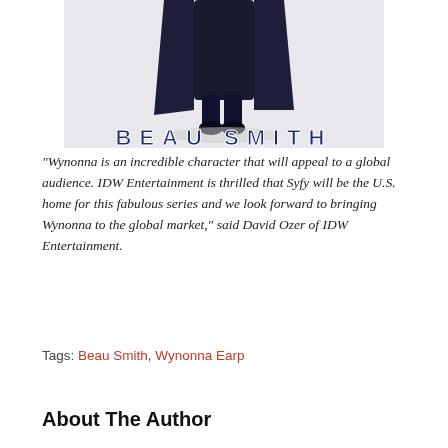[Figure (illustration): Book cover or promotional image for 'Beau Smith' featuring a figure in dark clothing and the text 'BEAU SMITH' in bold dark blue letters at the bottom]
“Wynonna is an incredible character that will appeal to a global audience. IDW Entertainment is thrilled that Syfy will be the U.S. home for this fabulous series and we look forward to bringing Wynonna to the global market,” said David Ozer of IDW Entertainment.
Tags: Beau Smith, Wynonna Earp
About The Author